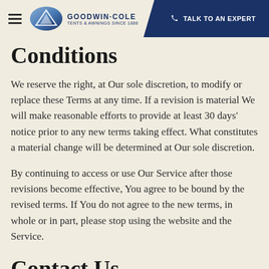GOODWIN·COLE TENTS & AWNINGS SINCE 1888 | TALK TO AN EXPERT
Conditions
We reserve the right, at Our sole discretion, to modify or replace these Terms at any time. If a revision is material We will make reasonable efforts to provide at least 30 days' notice prior to any new terms taking effect. What constitutes a material change will be determined at Our sole discretion.
By continuing to access or use Our Service after those revisions become effective, You agree to be bound by the revised terms. If You do not agree to the new terms, in whole or in part, please stop using the website and the Service.
Contact Us